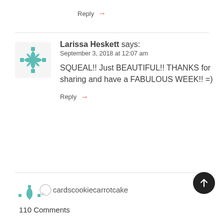Reply →
Larissa Heskett says:
September 3, 2018 at 12:07 am
SQUEAL!! Just BEAUTIFUL!! THANKS for sharing and have a FABULOUS WEEK!! =)
Reply →
cardscookiecarrotcake
110 Comments